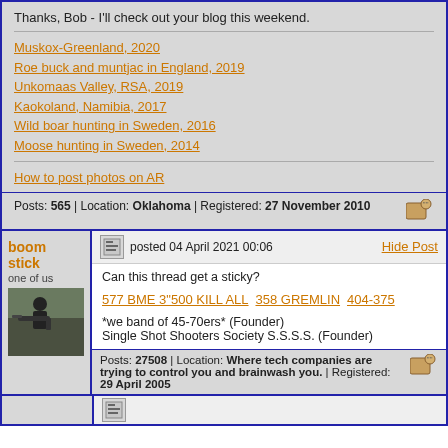Thanks, Bob - I'll check out your blog this weekend.
Muskox-Greenland, 2020
Roe buck and muntjac in England, 2019
Unkomaas Valley, RSA, 2019
Kaokoland, Namibia, 2017
Wild boar hunting in Sweden, 2016
Moose hunting in Sweden, 2014
How to post photos on AR
Posts: 565 | Location: Oklahoma | Registered: 27 November 2010
boom stick
one of us
posted 04 April 2021 00:06
Hide Post
Can this thread get a sticky?
577 BME 3"500 KILL ALL 358 GREMLIN 404-375
*we band of 45-70ers* (Founder)
Single Shot Shooters Society S.S.S.S. (Founder)
Posts: 27508 | Location: Where tech companies are trying to control you and brainwash you. | Registered: 29 April 2005